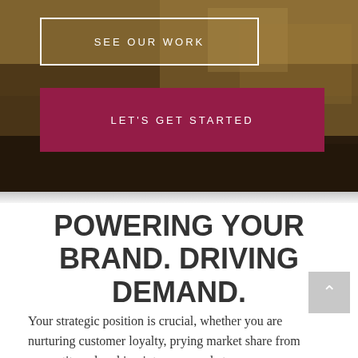[Figure (photo): Hero background image showing hands working on printed materials or documents with warm tones]
SEE OUR WORK
LET'S GET STARTED
POWERING YOUR BRAND. DRIVING DEMAND.
Your strategic position is crucial, whether you are nurturing customer loyalty, prying market share from competitors, breaking into new markets or